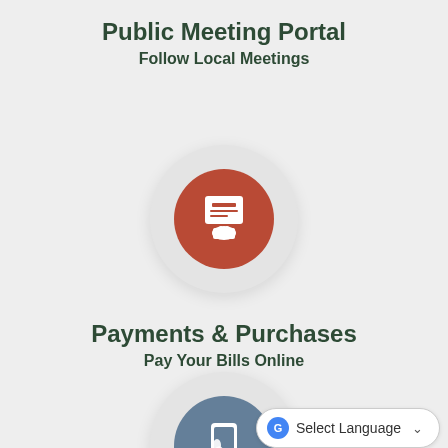Public Meeting Portal
Follow Local Meetings
[Figure (illustration): Large light gray circle with a dark red inner circle containing a white ATM/payment machine icon with a hand inserting a card]
Payments & Purchases
Pay Your Bills Online
[Figure (illustration): Large light gray circle with a steel blue inner circle containing a white hand tapping a mobile phone icon]
Select Language